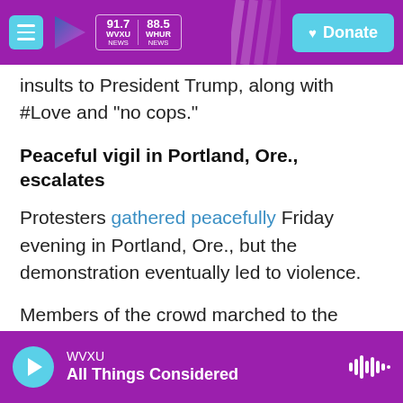WVXU 91.7 NEWS | WHUR 88.5 NEWS | Donate
insults to President Trump, along with #Love and "no cops."
Peaceful vigil in Portland, Ore., escalates
Protesters gathered peacefully Friday evening in Portland, Ore., but the demonstration eventually led to violence.
Members of the crowd marched to the Multnomah County Justice Center, which houses the county jail and police headquarters. Video showed several protesters breaking windows. The police
WVXU | All Things Considered